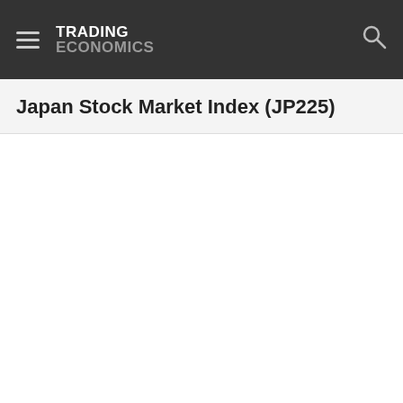TRADING ECONOMICS
Japan Stock Market Index (JP225)